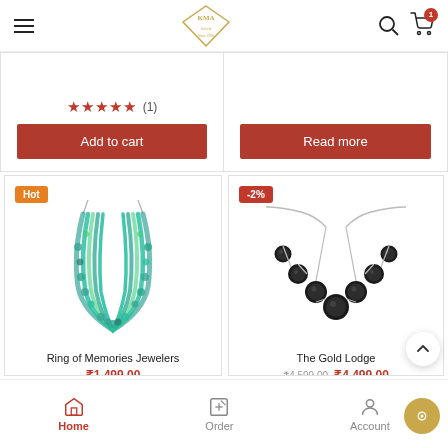KMA — Navigation header with hamburger menu, logo, search and cart icons
★★★★★ (1)
Add to cart
Read more
[Figure (photo): Teal/turquoise multi-strand beaded necklace with Hot badge]
Ring of Memories Jewelers
₹1,499.00
[Figure (photo): Black gemstone V-shaped necklace on silver chain with -2% discount badge]
The Gold Lodge
₹4,599.00 ₹4,499.00
Home | Order | Account